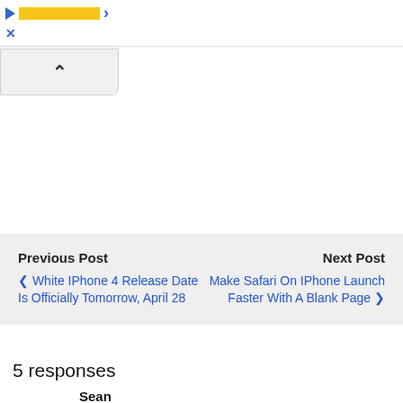[Advertisement bar with play icon, yellow bar, blue arrow, and close X]
[Figure (other): Collapse/up-caret button area below ad bar]
Previous Post
◀ White IPhone 4 Release Date Is Officially Tomorrow, April 28
Next Post
Make Safari On IPhone Launch Faster With A Blank Page ▶
5 responses
Sean
April 27, 2011
I noticed this right after the paywall was implemented because I use Reader often for long articles on NYT, LAT, and WSJ. I'm actually a Sunday subscriber (it's the cheapest plan + web access) but my cookies get deleted so often that NYT never remembers my user